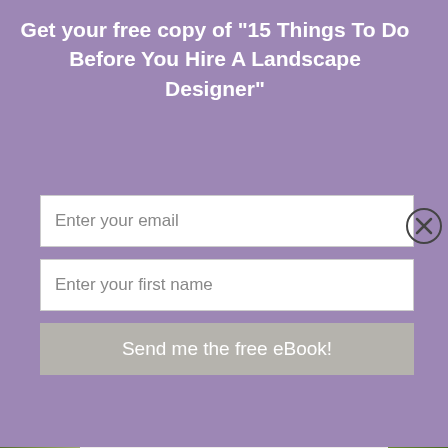Get your free copy of "15 Things To Do Before You Hire A Landscape Designer"
Enter your email
Enter your first name
Send me the free eBook!
Landscape Design
Landscape Design Portfolio
Landscape Design Projects
Low Maintenance Plants
Low Water Landscape
Outdoor Kitchen
Places to visit
Rocky Mountain landscaping